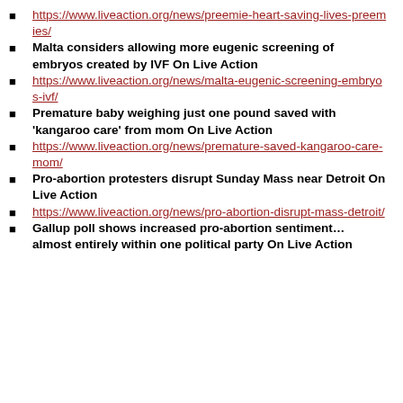https://www.liveaction.org/news/preemie-heart-saving-lives-preemies/
Malta considers allowing more eugenic screening of embryos created by IVF On Live Action
https://www.liveaction.org/news/malta-eugenic-screening-embryos-ivf/
Premature baby weighing just one pound saved with 'kangaroo care' from mom On Live Action
https://www.liveaction.org/news/premature-saved-kangaroo-care-mom/
Pro-abortion protesters disrupt Sunday Mass near Detroit On Live Action
https://www.liveaction.org/news/pro-abortion-disrupt-mass-detroit/
Gallup poll shows increased pro-abortion sentiment… almost entirely within one political party On Live Action